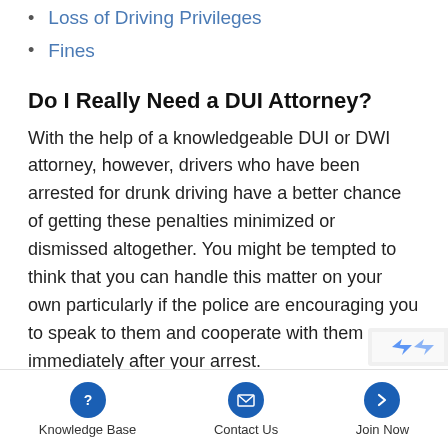Loss of Driving Privileges
Fines
Do I Really Need a DUI Attorney?
With the help of a knowledgeable DUI or DWI attorney, however, drivers who have been arrested for drunk driving have a better chance of getting these penalties minimized or dismissed altogether. You might be tempted to think that you can handle this matter on your own particularly if the police are encouraging you to speak to them and cooperate with them immediately after your arrest.
Knowledge Base | Contact Us | Join Now